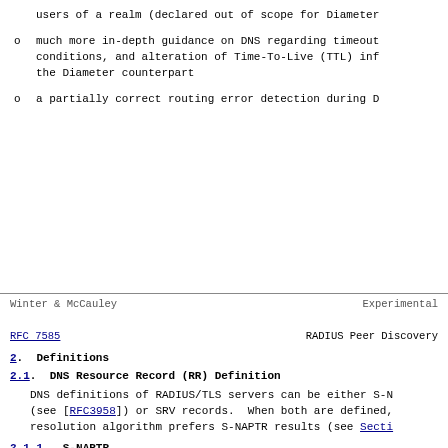users of a realm (declared out of scope for Diameter
much more in-depth guidance on DNS regarding timeout conditions, and alteration of Time-To-Live (TTL) inf the Diameter counterpart
a partially correct routing error detection during D
Winter & McCauley                Experimental
RFC 7585                    RADIUS Peer Discovery
2.  Definitions
2.1.  DNS Resource Record (RR) Definition
DNS definitions of RADIUS/TLS servers can be either S-N (see [RFC3958]) or SRV records.  When both are defined, resolution algorithm prefers S-NAPTR results (see Secti
2.1.1.  S-NAPTR
2.1.1.1.  Registration of Application Service and Protocol